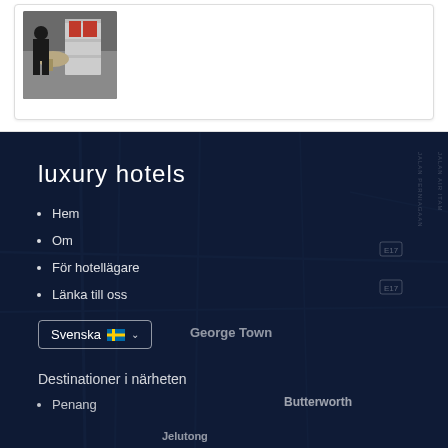[Figure (photo): Small thumbnail photo showing a person near shelving/furniture in an indoor setting]
luxury hotels
Hem
Om
För hotellägare
Länka till oss
Svenska 🇸🇪 ∨
Destinationer i närheten
Penang
[Figure (map): Dark themed map background showing George Town, Butterworth, Jelutong areas]